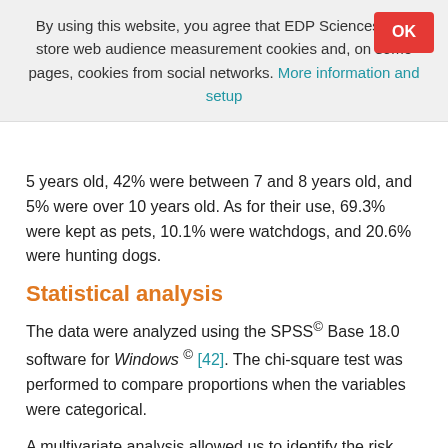By using this website, you agree that EDP Sciences may store web audience measurement cookies and, on some pages, cookies from social networks. More information and setup
5 years old, 42% were between 7 and 8 years old, and 5% were over 10 years old. As for their use, 69.3% were kept as pets, 10.1% were watchdogs, and 20.6% were hunting dogs.
Statistical analysis
The data were analyzed using the SPSS© Base 18.0 software for Windows © [42]. The chi-square test was performed to compare proportions when the variables were categorical.
A multivariate analysis allowed us to identify the risk factors for the presence of heartworm disease in this population. This multivariate analysis included those independent variables that presented a statistical significance of less than 0.2 in the bivariate analysis. The independent variables with